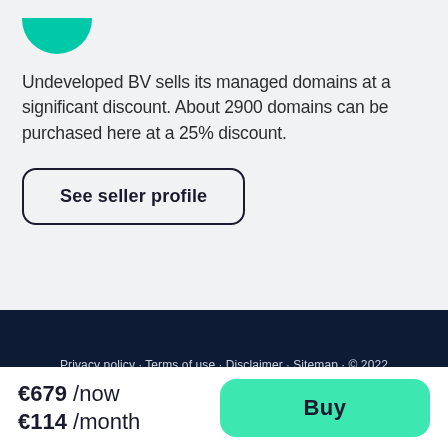[Figure (logo): Circular teal/green logo partially cropped at top of page]
Undeveloped BV sells its managed domains at a significant discount. About 2900 domains can be purchased here at a 25% discount.
See seller profile
Privacy policy · Terms of use · Disclaimer · Sitemap · © 2022 Dan.com an Undeveloped BV subsidiary. All Rights Reserved.
English ▲
€679 /now €114 /month
Buy